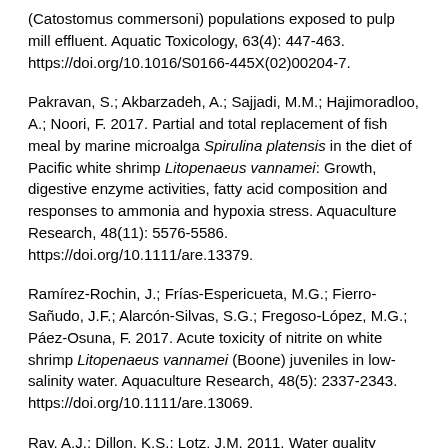(Catostomus commersoni) populations exposed to pulp mill effluent. Aquatic Toxicology, 63(4): 447-463. https://doi.org/10.1016/S0166-445X(02)00204-7.
Pakravan, S.; Akbarzadeh, A.; Sajjadi, M.M.; Hajimoradloo, A.; Noori, F. 2017. Partial and total replacement of fish meal by marine microalga Spirulina platensis in the diet of Pacific white shrimp Litopenaeus vannamei: Growth, digestive enzyme activities, fatty acid composition and responses to ammonia and hypoxia stress. Aquaculture Research, 48(11): 5576-5586. https://doi.org/10.1111/are.13379.
Ramírez-Rochin, J.; Frías-Espericueta, M.G.; Fierro-Sañudo, J.F.; Alarcón-Silvas, S.G.; Fregoso-López, M.G.; Páez-Osuna, F. 2017. Acute toxicity of nitrite on white shrimp Litopenaeus vannamei (Boone) juveniles in low-salinity water. Aquaculture Research, 48(5): 2337-2343. https://doi.org/10.1111/are.13069.
Ray, A.J.; Dillon, K.S.; Lotz, J.M. 2011. Water quality dynamics and shrimp (Litopenaeus vannamei) production in intensive, mesohaline culture systems with two levels of biofloc management. Aquacultural Engineering, 45(3): 127-136.